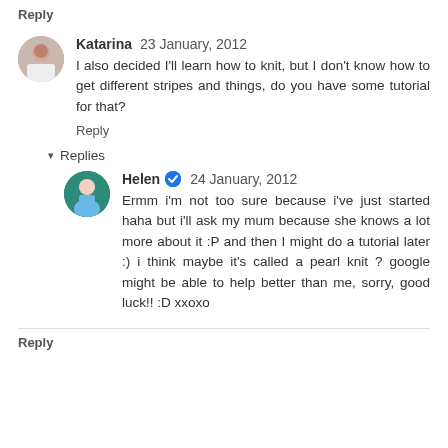Reply
Katarina  23 January, 2012
I also decided I'll learn how to knit, but I don't know how to get different stripes and things, do you have some tutorial for that?
Reply
▾  Replies
Helen ✓  24 January, 2012
Ermm i'm not too sure because i've just started haha but i'll ask my mum because she knows a lot more about it :P and then I might do a tutorial later :) i think maybe it's called a pearl knit ? google might be able to help better than me, sorry, good luck!! :D xxoxo
Reply